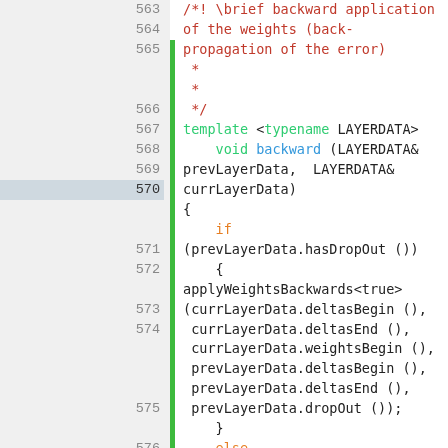[Figure (screenshot): Source code viewer showing C++ code lines 563-582, with line numbers on the left, green change indicators, and syntax highlighting. The code shows a backward() function template implementing backpropagation with dropout handling.]